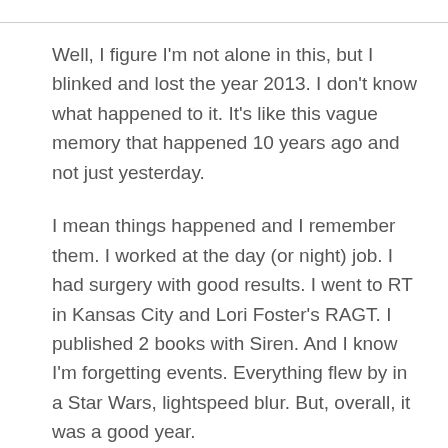Well, I figure I'm not alone in this, but I blinked and lost the year 2013. I don't know what happened to it. It's like this vague memory that happened 10 years ago and not just yesterday.
I mean things happened and I remember them. I worked at the day (or night) job. I had surgery with good results. I went to RT in Kansas City and Lori Foster's RAGT. I published 2 books with Siren. And I know I'm forgetting events. Everything flew by in a Star Wars, lightspeed blur. But, overall, it was a good year.
I do have regrets. As always I worry that I didn't spend enough time with my family. I'm kicking myself for not getting that third book submitted and